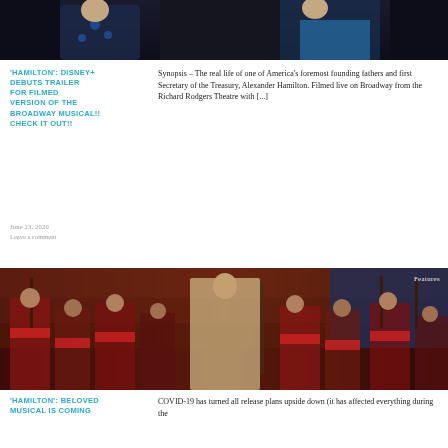[Figure (photo): Stage performance photo from Hamilton musical showing two actors in costume, dark background]
'HAMILTON': DISNEY+ DEBUTS TRAILER FOR FILMED VERSION OF THE BROADWAY MUSICAL!! CHECK IT OUT!!
Synopsis – The real life of one of America's foremost founding fathers and first Secretary of the Treasury, Alexander Hamilton. Filmed live on Broadway from the Richard Rodgers Theatre with [...]
June 23, 2020
Leave a comment
[Figure (photo): Stage performance photo from Hamilton musical showing ensemble cast in revolutionary war costumes with a central actor in white coat, Features tag visible]
'HAMILTON': BELOVED MUSICAL IS COMING
COVID-19 has turned all release plans upside down (it has affected everything during the